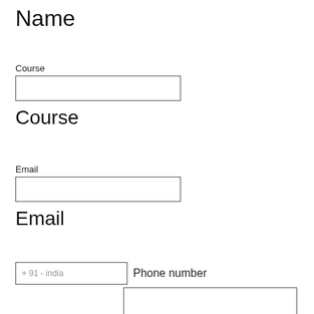Name
Course
[Figure (other): Empty text input field for Course]
Course
Email
[Figure (other): Empty text input field for Email]
Email
+ 91 - india
Phone number
[Figure (other): Empty text input field for phone number]